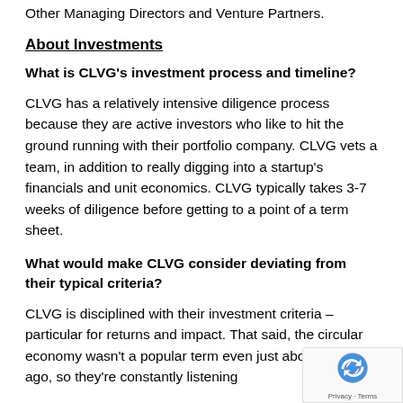Other Managing Directors and Venture Partners.
About Investments
What is CLVG's investment process and timeline?
CLVG has a relatively intensive diligence process because they are active investors who like to hit the ground running with their portfolio company. CLVG vets a team, in addition to really digging into a startup's financials and unit economics. CLVG typically takes 3-7 weeks of diligence before getting to a point of a term sheet.
What would make CLVG consider deviating from their typical criteria?
CLVG is disciplined with their investment criteria – particular for returns and impact. That said, the circular economy wasn't a popular term even just about 2 years ago, so they're constantly listening